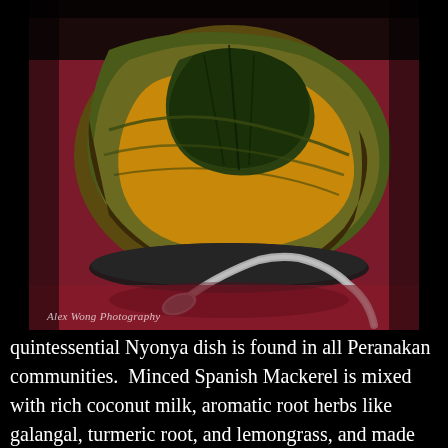[Figure (photo): Close-up photograph of a Nyonya fish dish wrapped in banana leaves, served on a dark plate with a spoon, on a red surface. Watermark reads 'Alex Wong Photography'.]
quintessential Nyonya dish is found in all Peranakan communities.  Minced Spanish Mackerel is mixed with rich coconut milk, aromatic root herbs like galangal, turmeric root, and lemongrass, and made fragrant with Kaffir lime leaves and turmeric leaves.  This mixture is spooned into fresh banana leaves and steamed until slightly firm.  Here we see the use of purely Southeast Asian ingredients and seasonings.  This concoction was